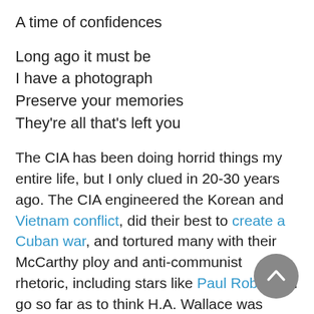A time of confidences
Long ago it must be
I have a photograph
Preserve your memories
They're all that's left you
The CIA has been doing horrid things my entire life, but I only clued in 20-30 years ago. The CIA engineered the Korean and Vietnam conflict, did their best to create a Cuban war, and tortured many with their McCarthy ploy and anti-communist rhetoric, including stars like Paul Robeson I go so far as to think H.A. Wallace was ditched and H.S. Truman installed to insure the creation of the CIA and the dropping of the A-bomb.
Why didn't people notice? There was great social